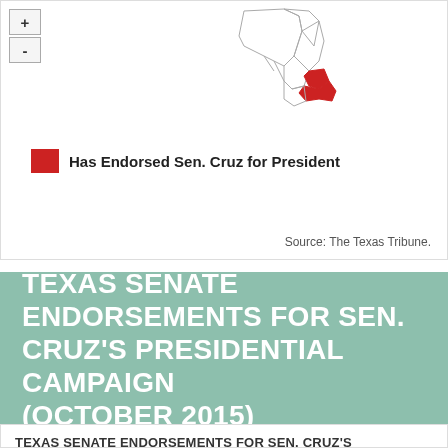[Figure (map): Partial map of Texas Senate districts with zoom controls (+/-). Some districts highlighted in red to indicate endorsements for Sen. Cruz for President.]
Has Endorsed Sen. Cruz for President
Source: The Texas Tribune.
TEXAS SENATE ENDORSEMENTS FOR SEN. CRUZ'S PRESIDENTIAL CAMPAIGN (OCTOBER 2015)
TABLE | SHARE | MORE
TEXAS SENATE ENDORSEMENTS FOR SEN. CRUZ'S PRESIDENTIAL CAMPAIGN (OCTOBER 2015)
[Figure (map): Map of Texas Senate districts showing which senators have endorsed Sen. Cruz for President. Red districts in eastern/central Texas indicate endorsers.]